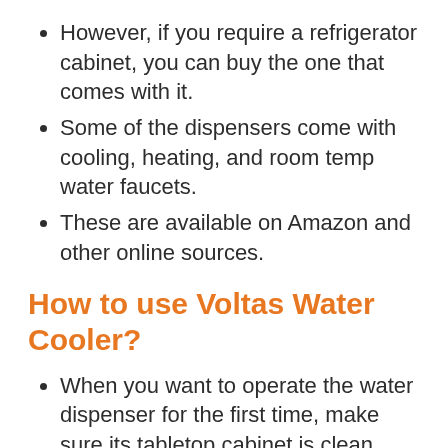However, if you require a refrigerator cabinet, you can buy the one that comes with it.
Some of the dispensers come with cooling, heating, and room temp water faucets.
These are available on Amazon and other online sources.
How to use Voltas Water Cooler?
When you want to operate the water dispenser for the first time, make sure its tabletop cabinet is clean.
If necessary, wash the dispenser's water-containing bowl.
It is where you place the water bottle